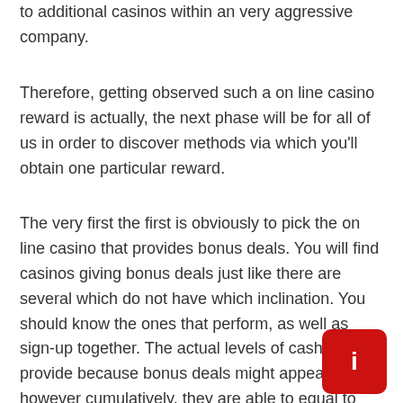to additional casinos within an very aggressive company.
Therefore, getting observed such a on line casino reward is actually, the next phase will be for all of us in order to discover methods via which you'll obtain one particular reward.
The very first the first is obviously to pick the on line casino that provides bonus deals. You will find casinos giving bonus deals just like there are several which do not have which inclination. You should know the ones that perform, as well as sign-up together. The actual levels of cash they provide because bonus deals might appear little, however cumulatively, they are able to equal to really quite a lot of cash.